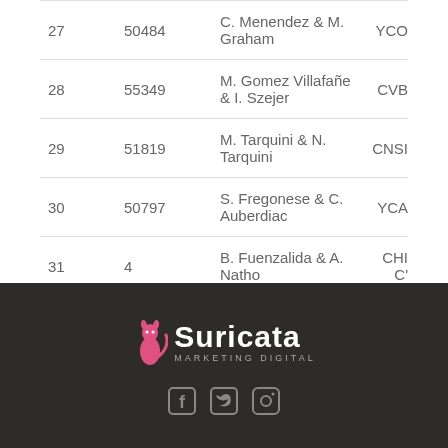| 27 | 50484 | C. Menendez & M. Graham | YCO |
| 28 | 55349 | M. Gomez Villafañe & I. Szejer | CVB |
| 29 | 51819 | M. Tarquini & N. Tarquini | CNSI |
| 30 | 50797 | S. Fregonese & C. Auberdiac | YCA |
| 31 | 4 | B. Fuenzalida & A. Natho | CHI C' |
| 31 | 54838 | V. Garcia Canteli & C. Ruiz | CNSI |
Mostrando desde 1 hasta 32 de 32 registros
[Figure (logo): Suricata Marketing Digital logo with pink bird icon, white text, and social media icons (Facebook, Twitter, Instagram) on dark brown background]